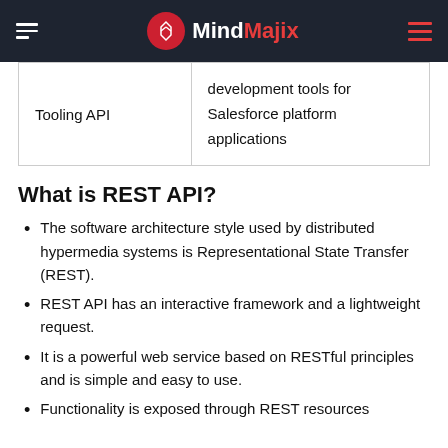MindMajix
| Tooling API | development tools for Salesforce platform applications |
What is REST API?
The software architecture style used by distributed hypermedia systems is Representational State Transfer (REST).
REST API has an interactive framework and a lightweight request.
It is a powerful web service based on RESTful principles and is simple and easy to use.
Functionality is exposed through REST resources